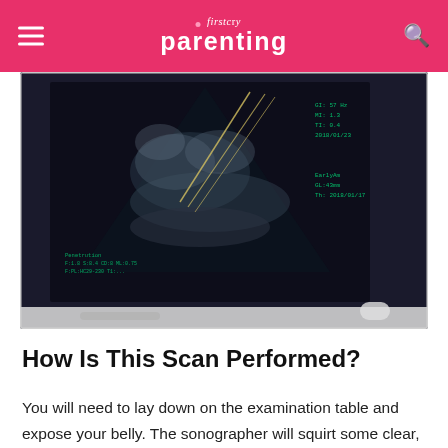firstcry parenting
[Figure (photo): Close-up of an ultrasound machine monitor displaying a fetal ultrasound scan image with measurement data overlaid on the screen.]
How Is This Scan Performed?
You will need to lay down on the examination table and expose your belly. The sonographer will squirt some clear, water-based gel on your belly and abdomen and uses the ultrasound transducer to get images of your baby on a